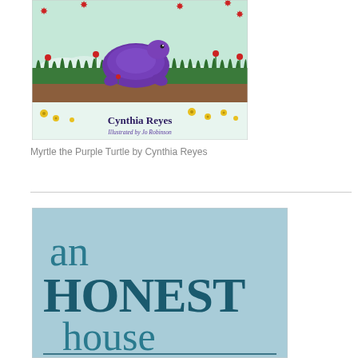[Figure (illustration): Book cover of 'Myrtle the Purple Turtle' showing a purple turtle in a garden with flowers and grass. Author: Cynthia Reyes, Illustrated by Jo Robinson.]
Myrtle the Purple Turtle by Cynthia Reyes
[Figure (illustration): Book cover of 'an HONEST house' with large teal/dark teal serif typography on a light blue background.]